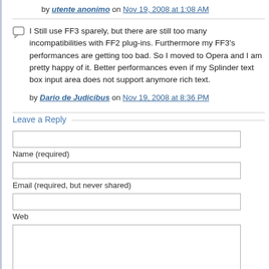by utente anonimo on Nov 19, 2008 at 1:08 AM
I Still use FF3 sparely, but there are still too many incompatibilities with FF2 plug-ins. Furthermore my FF3's performances are getting too bad. So I moved to Opera and I am pretty happy of it. Better performances even if my Splinder text box input area does not support anymore rich text.
by Dario de Judicibus on Nov 19, 2008 at 8:36 PM
Leave a Reply
Name (required)
Email (required, but never shared)
Web